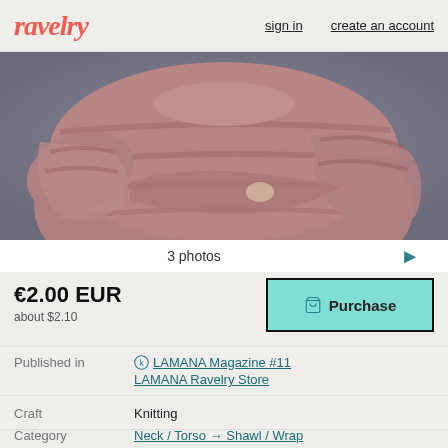ravelry   sign in   create an account
[Figure (photo): Person wearing a dusty rose/mauve puffer jacket with arms crossed, photographed against a grey background]
3 photos →
€2.00 EUR
about $2.10
Purchase
Published in   LAMANA Magazine #11   LAMANA Ravelry Store
Craft   Knitting
Category   Neck / Torso → Shawl / Wrap